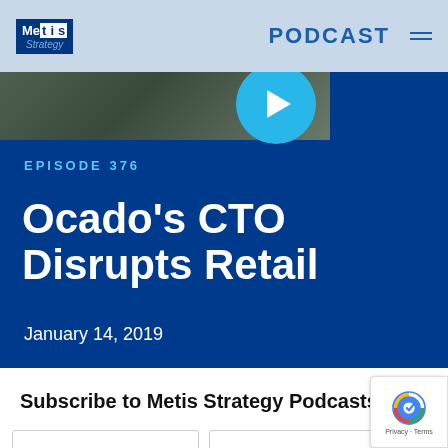Metis Strategy | PODCAST
[Figure (screenshot): Podcast episode hero section with dark blue background, thumbnail photo of a person in dark clothing on the left, and a cyan play button circle overlapping the thumbnail on the right.]
EPISODE 376
Ocado's CTO Disrupts Retail
January 14, 2019
Subscribe to Metis Strategy Podcasts